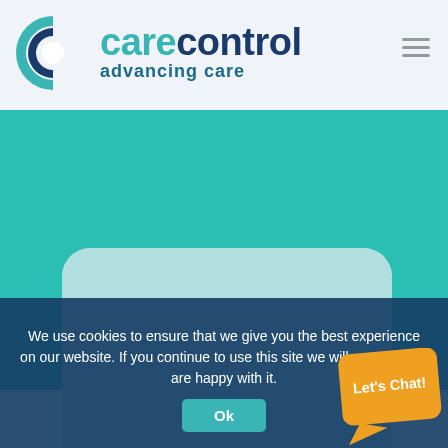[Figure (logo): Care Control logo with teal and dark blue 'C' icon and text 'carecontrol advancing care']
[Figure (illustration): Teal background section with a large rounded light-teal rectangle card in the center]
We use cookies to ensure that we give you the best experience on our website. If you continue to use this site we will assume you are happy with it.
[Figure (other): Ok button - teal rounded rectangle button with white text 'Ok']
[Figure (other): Orange speech bubble chat widget with text 'Let's Chat!']